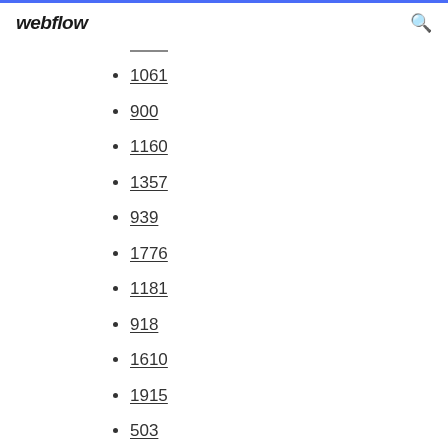webflow
1061
900
1160
1357
939
1776
1181
918
1610
1915
503
1031